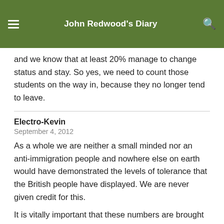John Redwood's Diary
and we know that at least 20% manage to change status and stay. So yes, we need to count those students on the way in, because they no longer tend to leave.
Electro-Kevin
September 4, 2012
As a whole we are neither a small minded nor an anti-immigration people and nowhere else on earth would have demonstrated the levels of tolerance that the British people have displayed. We are never given credit for this.
It is vitally important that these numbers are brought down.